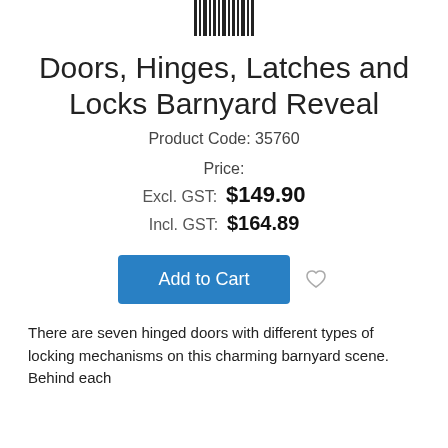[Figure (logo): Barcode or product logo icon at top center]
Doors, Hinges, Latches and Locks Barnyard Reveal
Product Code: 35760
Price:
Excl. GST:  $149.90
Incl. GST:  $164.89
Add to Cart
There are seven hinged doors with different types of locking mechanisms on this charming barnyard scene. Behind each